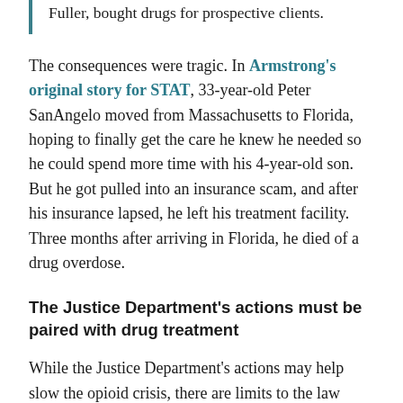... alleged that a patient recruiter, Christopher Fuller, bought drugs for prospective clients.
The consequences were tragic. In Armstrong's original story for STAT, 33-year-old Peter SanAngelo moved from Massachusetts to Florida, hoping to finally get the care he knew he needed so he could spend more time with his 4-year-old son. But he got pulled into an insurance scam, and after his insurance lapsed, he left his treatment facility. Three months after arriving in Florida, he died of a drug overdose.
The Justice Department's actions must be paired with drug treatment
While the Justice Department's actions may help slow the opioid crisis, there are limits to the law enforcement approach. In fact, there's evidence that